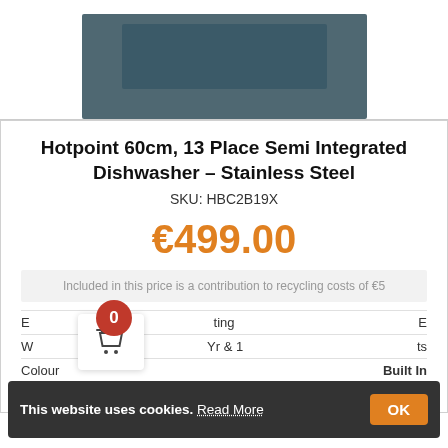[Figure (photo): Top portion of a slate/teal colored semi-integrated dishwasher appliance, showing the upper door panel.]
Hotpoint 60cm, 13 Place Semi Integrated Dishwasher – Stainless Steel
SKU: HBC2B19X
€499.00
Included in this price is a contribution to recycling costs of €5
E	ting	E
W	& 1	ts
Colour	Built In
Hom Typ	Integrated